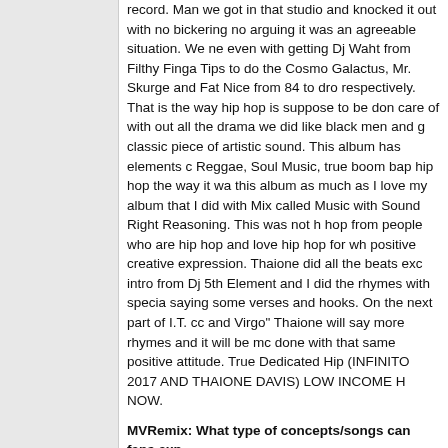record. Man we got in that studio and knocked it out with no bickering no arguing it was an agreeable situation. We ne even with getting Dj Waht from Filthy Finga Tips to do the Cosmo Galactus, Mr. Skurge and Fat Nice from 84 to dro respectively. That is the way hip hop is suppose to be don care of with out all the drama we did like black men and g classic piece of artistic sound. This album has elements c Reggae, Soul Music, true boom bap hip hop the way it wa this album as much as I love my album that I did with Mix called Music with Sound Right Reasoning. This was not h hop from people who are hip hop and love hip hop for wh positive creative expression. Thaione did all the beats exc intro from Dj 5th Element and I did the rhymes with specia saying some verses and hooks. On the next part of I.T. cc and Virgo" Thaione will say more rhymes and it will be mc done with that same positive attitude. True Dedicated Hip (INFINITO 2017 AND THAIONE DAVIS) LOW INCOME H NOW.
MVRemix: What type of concepts/songs can fans exp
Infinito: You will hear some painful street stuff like Acknow some thugs populate the city blocks of the south side of C comes into play and you have to imagine what happens in clues, a straight soul jam called Casual Liberation going b is not my usual tempo. You will hear a song on the roots a Hop and how its being sold into the cooperate devils hand Hop need to keep it where it started in the streets. Ohh a re-routs the people away from drug usage and smoking a thinking. Because "Sometimes" we got to take the land ba Its love on here hate justice soul all kinds of music that sh from the Mk Ultra mind control drugs you used to. Pure hi hear.